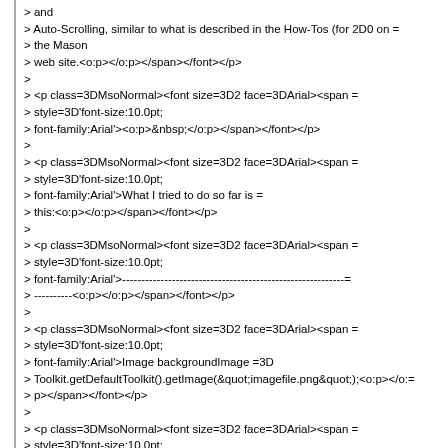> and
> Auto-Scrolling, similar to what is described in the How-Tos (for 2D0 on =
> the Mason
> web site.<o:p></o:p></span></font></p>
>
> <p class=3DMsoNormal><font size=3D2 face=3DArial><span =
> style=3D'font-size:10.0pt;
> font-family:Arial'><o:p>&nbsp;</o:p></span></font></p>
>
> <p class=3DMsoNormal><font size=3D2 face=3DArial><span =
> style=3D'font-size:10.0pt;
> font-family:Arial'>What I tried to do so far is =
> this:<o:p></o:p></span></font></p>
>
> <p class=3DMsoNormal><font size=3D2 face=3DArial><span =
> style=3D'font-size:10.0pt;
> font-family:Arial'>----------------------------------------------------------=
> ----------<o:p></o:p></span></font></p>
>
> <p class=3DMsoNormal><font size=3D2 face=3DArial><span =
> style=3D'font-size:10.0pt;
> font-family:Arial'>Image backgroundImage =3D
> Toolkit.getDefaultToolkit().getImage(&quot;imagefile.png&quot;);<o:p></o:=
> p></span></font></p>
>
> <p class=3DMsoNormal><font size=3D2 face=3DArial><span =
> style=3D'font-size:10.0pt;
> font-family:Arial'>SimplePortrayal3D backgroundImagePortrayal =3D new
> ImagePortrayal3D(backgroundImage);<o:p></o:p></span></font></p>
>
> <p class=3DMsoNormal><font size=3D2 face=3DArial><span =
> style=3D'font-size:10.0pt;
> font-family:Arial'>